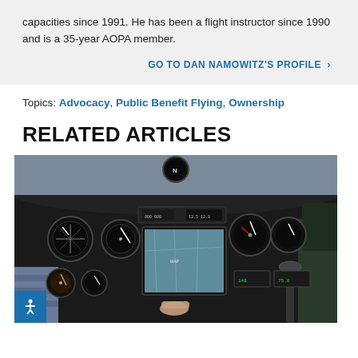capacities since 1991. He has been a flight instructor since 1990 and is a 35-year AOPA member.
GO TO DAN NAMOWITZ'S PROFILE >
Topics: Advocacy, Public Benefit Flying, Ownership
RELATED ARTICLES
[Figure (photo): Photo of an aircraft cockpit with instrument panel, GPS display, and pilot's hand visible in the foreground]